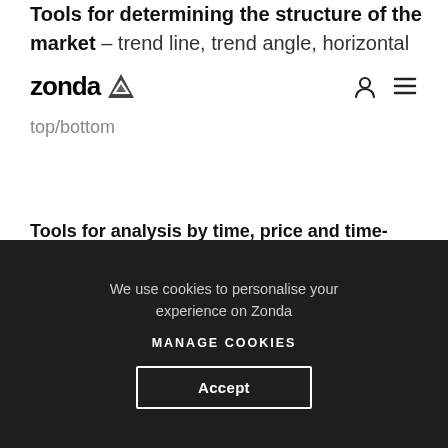Tools for determining the structure of the market – trend line, trend angle, horizontal line, horizontal ray, vertical line, arrow, ray, extended, parallel channel, disjoint angle, flat top/bottom
zonda [logo] | user icon | menu icon
Tools for analysis by time, price and time-price methods – pitchfork, schiff pitchfork, modified schiff pitchfork, inside pitchfork, pitchfan,
We use cookies to personalise your experience on Zonda
Manage Cookies
Accept